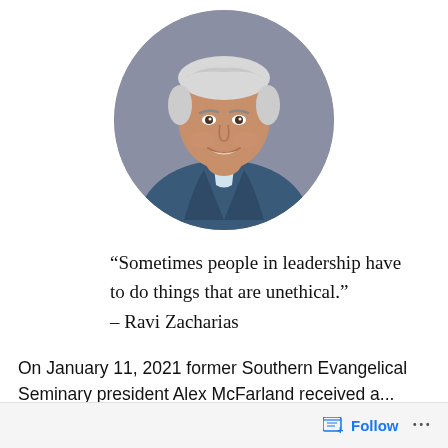[Figure (photo): Circular cropped headshot photo of Ravi Zacharias, an older man with white/gray hair, wearing a blue blazer and light blue shirt, smiling, against a gray background.]
“Sometimes people in leadership have to do things that are unethical.”
– Ravi Zacharias
On January 11, 2021 former Southern Evangelical Seminary president Alex McFarland received a...
Follow ...